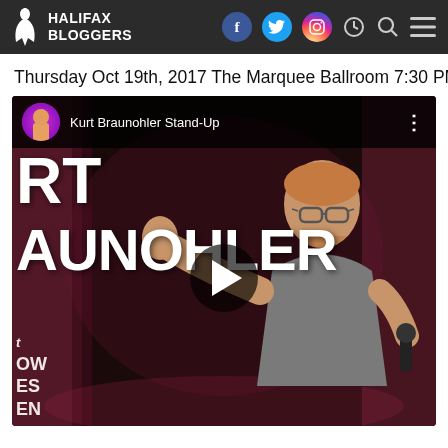HALIFAX BLOGGERS
Thursday Oct 19th, 2017 The Marquee Ballroom 7:30 PM
[Figure (screenshot): YouTube video thumbnail for 'Kurt Braunohler Stand-Up' showing a stand-up comedian on stage holding a microphone, with text RT AUNOHLER visible, a play button overlay, and the YouTube channel avatar in the top bar.]